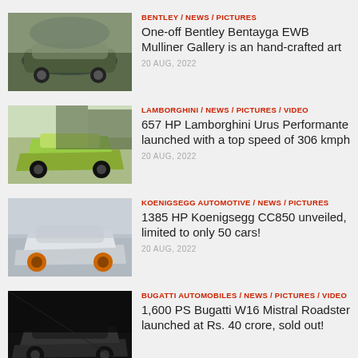BENTLEY / NEWS / PICTURES | One-off Bentley Bentayga EWB Mulliner Gallery is an hand-crafted art | 20 AUG, 2022
LAMBORGHINI / NEWS / PICTURES / VIDEO | 657 HP Lamborghini Urus Performante launched with a top speed of 306 kmph | 20 AUG, 2022
KOENIGSEGG AUTOMOTIVE / NEWS / PICTURES | 1385 HP Koenigsegg CC850 unveiled, limited to only 50 cars! | 20 AUG, 2022
BUGATTI AUTOMOBILES / NEWS / PICTURES / VIDEO | 1,600 PS Bugatti W16 Mistral Roadster launched at Rs. 40 crore, sold out!